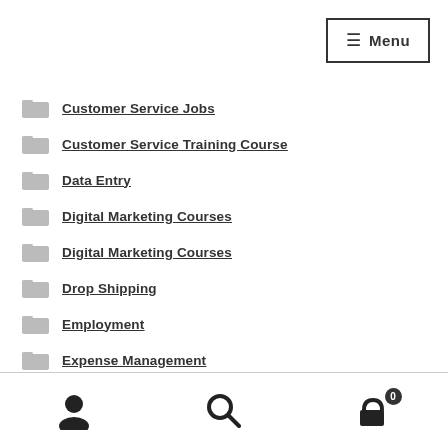[Figure (other): Menu button with hamburger icon and border]
Customer Service Jobs
Customer Service Training Course
Data Entry
Digital Marketing Courses
Digital Marketing Courses
Drop Shipping
Employment
Expense Management
Facebook Advertising Course
[Figure (other): Footer navigation bar with user icon, search icon, and cart icon with badge showing 0]